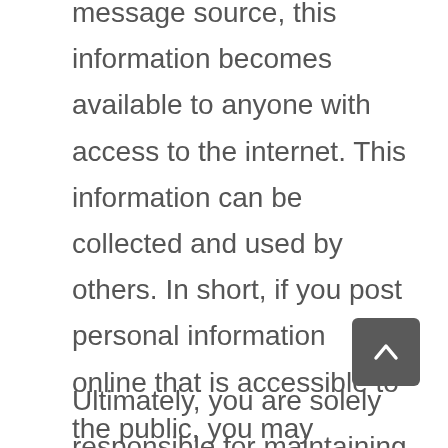message source, this information becomes available to anyone with access to the internet. This information can be collected and used by others. In short, if you post personal information online that is accessible to the public, you may receive unsolicited messages from other parties in return. Therefore, we recommend that you refrain from posting any information that you do not want seen in these public areas. For example, when participating in a guest book or chat area, your name will appear on the message board. Institute for Civil Society Ltd. recommends that applicants registering online do not use their real names, but a pen name or pseudonym. You must not intentionally use the name of another living person.
Ultimately, you are solely responsible for maintaining the secrecy of your passwords and/or any personal